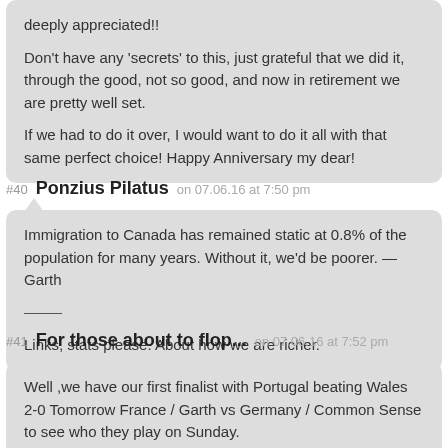deeply appreciated!!

Don't have any 'secrets' to this, just grateful that we did it, through the good, not so good, and now in retirement we are pretty well set.

If we had to do it over, I would want to do it all with that same perfect choice! Happy Anniversary my dear!
#40 Ponzius Pilatus on 07.06.16 at 7:50 pm
Immigration to Canada has remained static at 0.8% of the population for many years. Without it, we'd be poorer. — Garth
——-
Links, stats please. About how we are richer.
#41 For those about to flop... on 07.06.16 at 7:52 pm
Well ,we have our first finalist with Portugal beating Wales 2-0 Tomorrow France / Garth vs Germany / Common Sense to see who they play on Sunday.